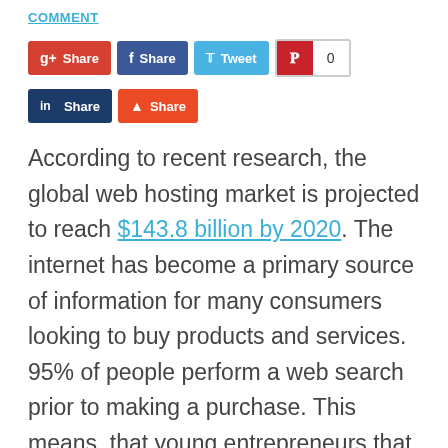COMMENT
[Figure (infographic): Social sharing buttons row: Google+ Share (red), Facebook Share (dark blue), Twitter Tweet (light blue), Pinterest button with count 0 (red icon with white count box). Second row: LinkedIn Share (dark navy), StumbleUpon Share (orange).]
According to recent research, the global web hosting market is projected to reach $143.8 billion by 2020. The internet has become a primary source of information for many consumers looking to buy products and services. 95% of people perform a web search prior to making a purchase. This means, that young entrepreneurs that want to succeed in the world of business, should consider building a website and linking that